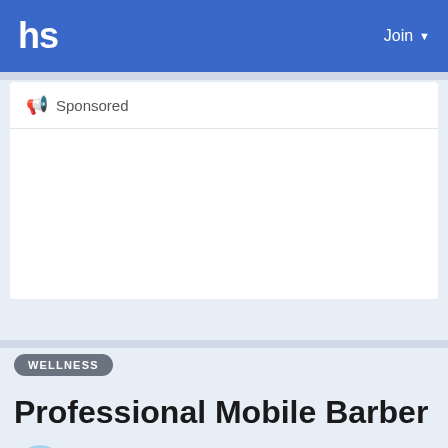hs  Join
📢 Sponsored
[Figure (other): Blank sponsored advertisement area]
WELLNESS
Professional Mobile Barber
Mike Great ⚡ Posted 4 months ago